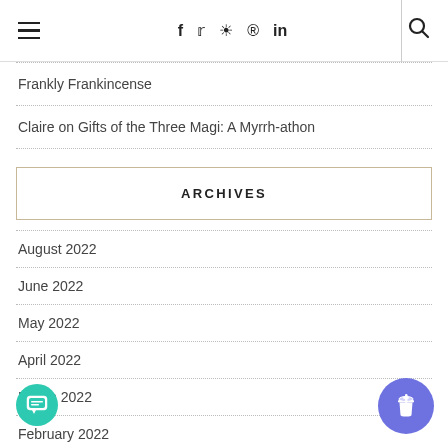Navigation bar with hamburger menu, social icons (f, twitter, instagram, pinterest, in), and search
Frankly Frankincense
Claire on Gifts of the Three Magi: A Myrrh-athon
ARCHIVES
August 2022
June 2022
May 2022
April 2022
March 2022
February 2022
December 2021
November 2021